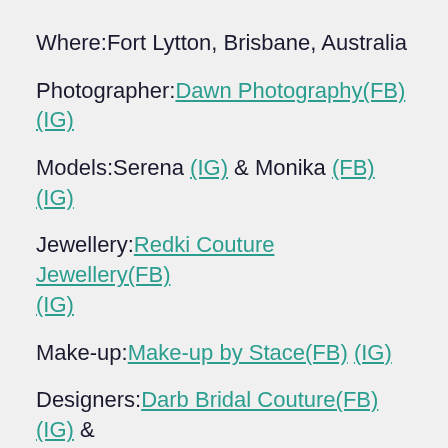Where:Fort Lytton, Brisbane, Australia
Photographer:Dawn Photography(FB) (IG)
Models:Serena (IG) & Monika (FB) (IG)
Jewellery:Redki Couture Jewellery(FB) (IG)
Make-up:Make-up by Stace(FB) (IG)
Designers:Darb Bridal Couture(FB) (IG) & Goddess by Nature(FB) (IG)
📖 The Story